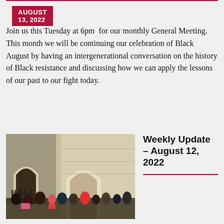Continuing the Legacy of Ancestral Resistance
AUGUST 13, 2022
Join us this Tuesday at 6pm for our monthly General Meeting. This month we will be continuing our celebration of Black August by having an intergenerational conversation on the history of Black resistance and discussing how we can apply the lessons of our past to our fight today.
[Figure (photo): Protesters and community members gathered on steps outside a building with arched entryways labeled HALL]
Weekly Update – August 12, 2022